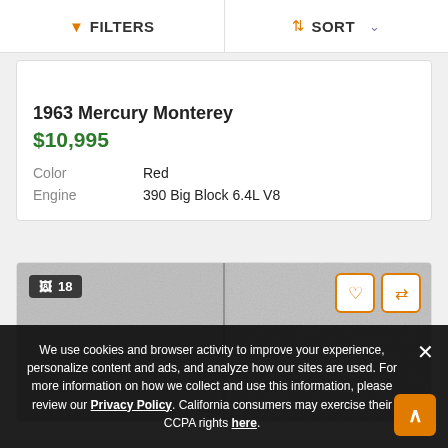FILTERS   SORT
1963 Mercury Monterey
$10,995
| Attribute | Value |
| --- | --- |
| Color | Red |
| Engine | 390 Big Block 6.4L V8 |
[Figure (photo): Car listing photo showing textured surface, image count badge '18', heart and compare action buttons]
We use cookies and browser activity to improve your experience, personalize content and ads, and analyze how our sites are used. For more information on how we collect and use this information, please review our Privacy Policy. California consumers may exercise their CCPA rights here.